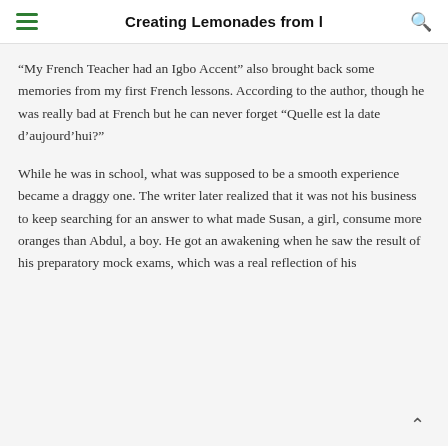Creating Lemonades from l
“My French Teacher had an Igbo Accent” also brought back some memories from my first French lessons. According to the author, though he was really bad at French but he can never forget “Quelle est la date d’aujourd’hui?”
While he was in school, what was supposed to be a smooth experience became a draggy one. The writer later realized that it was not his business to keep searching for an answer to what made Susan, a girl, consume more oranges than Abdul, a boy. He got an awakening when he saw the result of his preparatory mock exams, which was a real reflection of his